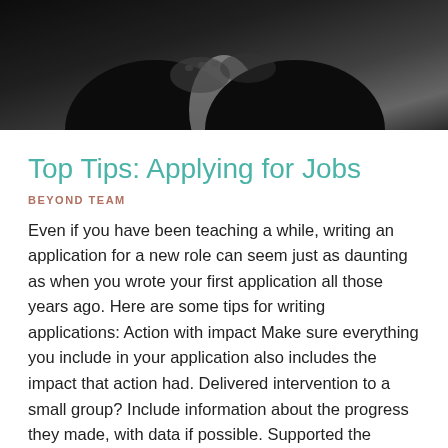[Figure (photo): Dark photograph showing a handshake or person in formal attire, cropped at top of page]
Top Tips: Applying for Jobs
BEYOND TEAM
Even if you have been teaching a while, writing an application for a new role can seem just as daunting as when you wrote your first application all those years ago. Here are some tips for writing applications: Action with impact Make sure everything you include in your application also includes the impact that action had. Delivered intervention to a small group? Include information about the progress they made, with data if possible. Supported the school concert? Make sure you mention how this developed student